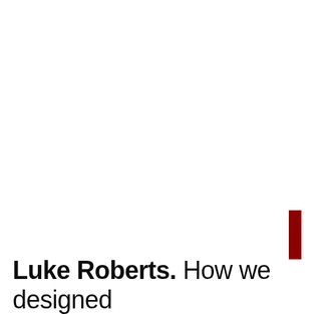Luke Roberts. How we designed
[Figure (other): Red vertical rectangle/bar decorative element positioned at the right side of the page, near the bottom, adjacent to the title text block.]